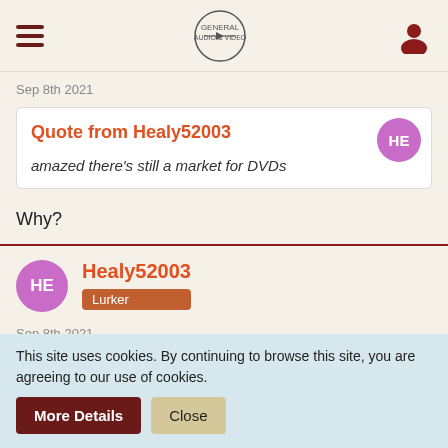[Figure (screenshot): Navigation bar with hamburger menu, forum logo, and user icon]
Sep 8th 2021
Quote from Healy52003
amazed there's still a market for DVDs
Why?
Healy52003
Lurker
Sep 8th 2021
This site uses cookies. By continuing to browse this site, you are agreeing to our use of cookies.